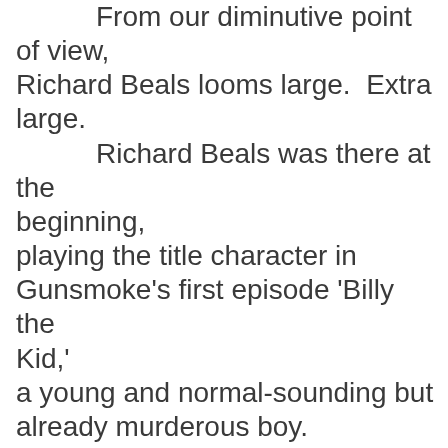From our diminutive point of view, Richard Beals looms large.  Extra large.  Richard Beals was there at the beginning, playing the title character in Gunsmoke's first episode 'Billy the Kid,' a young and normal-sounding but already murderous boy.

To those who have never heard radio Gunsmoke, it must be explained that for a long time, no matter how old Richard Beals was, he sounded more like a boy.